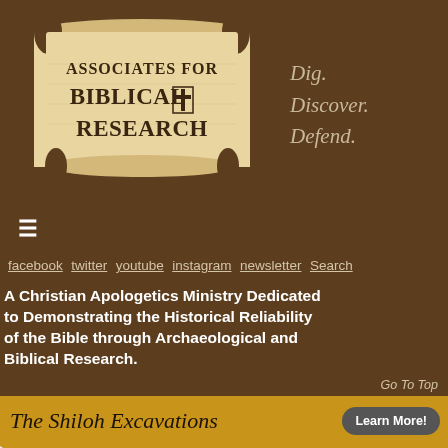[Figure (logo): Associates for Biblical Research logo with scroll background. Text: ASSOCIATES FOR BIBLICAL RESEARCH with a cross symbol.]
Dig. Discover. Defend.
≡
facebook  twitter  youtube  instagram  newsletter  Search
A Christian Apologetics Ministry Dedicated to Demonstrating the Historical Reliability of the Bible through Archaeological and Biblical Research.
Go To Top
The Shiloh Excavations    Learn More!
—
RESEARCH TOPICS